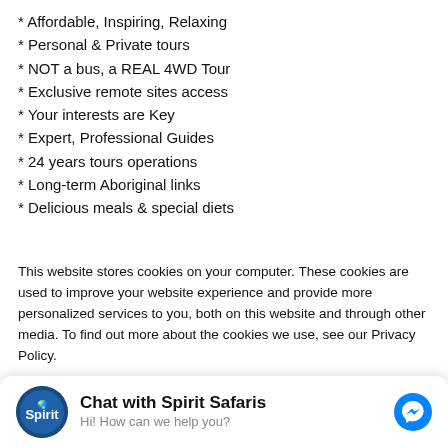* Affordable, Inspiring, Relaxing
* Personal & Private tours
* NOT a bus, a REAL 4WD Tour
* Exclusive remote sites access
* Your interests are Key
* Expert, Professional Guides
* 24 years tours operations
* Long-term Aboriginal links
* Delicious meals & special diets
This website stores cookies on your computer. These cookies are used to improve your website experience and provide more personalized services to you, both on this website and through other media. To find out more about the cookies we use, see our Privacy Policy.
We won't track your information when you visit our site. But in order to comply with your preferences, we'll have to use just one tiny cookie so that you're not asked to make this choice again.
Chat with Spirit Safaris
Hi! How can we help you?